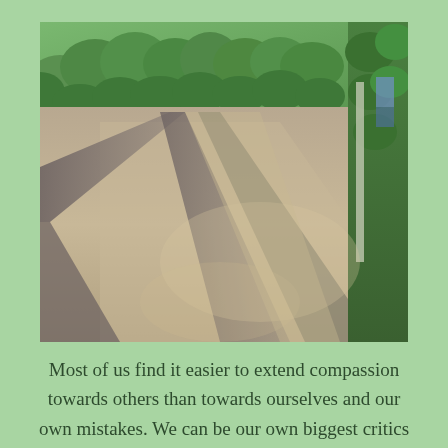[Figure (photo): Outdoor photograph showing a paved path or driveway with long shadows cast across the surface. Green hedges/bushes line the top and right side of the image. Warm golden sunlight creates dramatic elongated shadows stretching diagonally across the grey gravel or asphalt surface.]
Most of us find it easier to extend compassion towards others than towards ourselves and our own mistakes. We can be our own biggest critics which just intensifies our preoccupation with